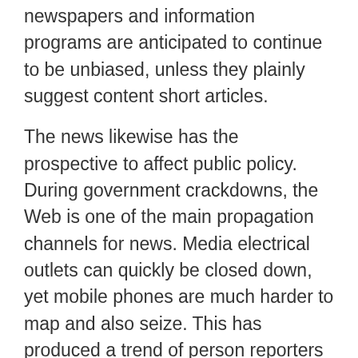newspapers and information programs are anticipated to continue to be unbiased, unless they plainly suggest content short articles.
The news likewise has the prospective to affect public policy. During government crackdowns, the Web is one of the main propagation channels for news. Media electrical outlets can quickly be closed down, yet mobile phones are much harder to map and also seize. This has produced a trend of person reporters who create for news media. They have a powerful benefit over their foes. So, when it pertains to damaging news, it is very important to prepare your company to respond swiftly to safeguard the public.
Several research studies have tried to define how the information media impacts public policy. As an example, the research study conducted by Harcup as